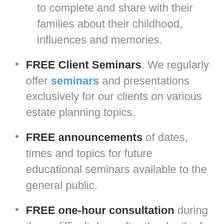to complete and share with their families about their childhood, influences and memories.
FREE Client Seminars. We regularly offer seminars and presentations exclusively for our clients on various estate planning topics.
FREE announcements of dates, times and topics for future educational seminars available to the general public.
FREE one-hour consultation during those difficult days after the death of a